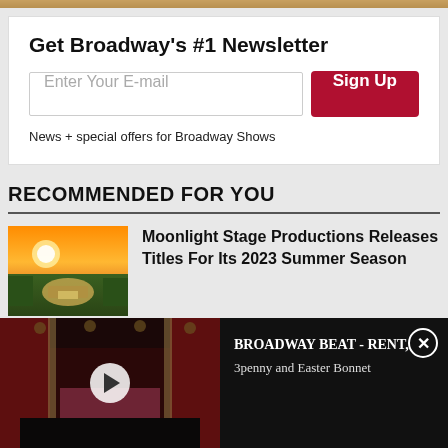Get Broadway's #1 Newsletter
News + special offers for Broadway Shows
RECOMMENDED FOR YOU
Moonlight Stage Productions Releases Titles For Its 2023 Summer Season
[Figure (photo): Aerial sunset view of an outdoor amphitheater surrounded by trees]
[Figure (screenshot): Video overlay showing a dark theater interior with stage lighting; BROADWAY BEAT - RENT, 3penny and Easter Bonnet]